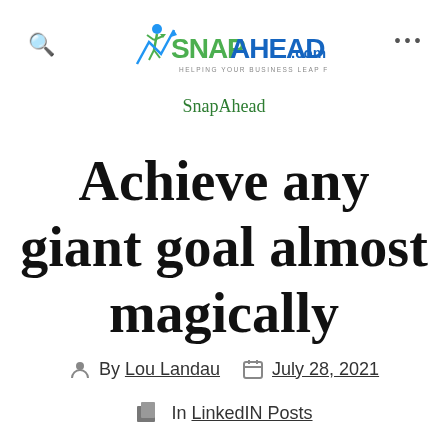[Figure (logo): SnapAhead.com logo with blue and green text and a figure leaping forward, tagline: HELPING YOUR BUSINESS LEAP FORWARD]
SnapAhead
Achieve any giant goal almost magically
By Lou Landau  July 28, 2021
In LinkedIn Posts